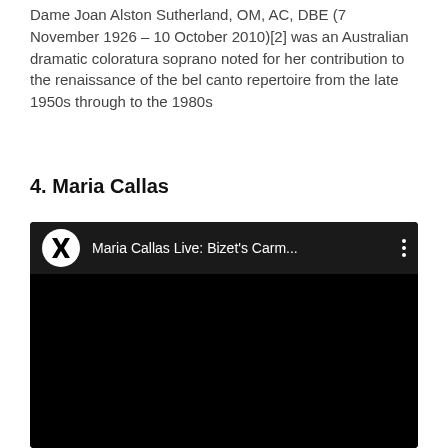Dame Joan Alston Sutherland, OM, AC, DBE (7 November 1926 – 10 October 2010)[2] was an Australian dramatic coloratura soprano noted for her contribution to the renaissance of the bel canto repertoire from the late 1950s through to the 1980s
4. Maria Callas
[Figure (screenshot): YouTube video embed showing 'Maria Callas Live: Bizet's Carm...' with Warner Classics logo on a dark background]